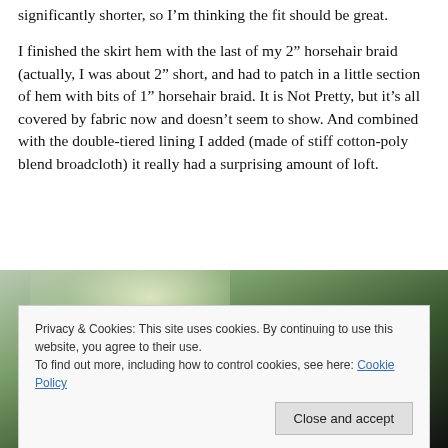significantly shorter, so I'm thinking the fit should be great.
I finished the skirt hem with the last of my 2" horsehair braid (actually, I was about 2" short, and had to patch in a little section of hem with bits of 1" horsehair braid. It is Not Pretty, but it's all covered by fabric now and doesn't seem to show. And combined with the double-tiered lining I added (made of stiff cotton-poly blend broadcloth) it really had a surprising amount of loft.
[Figure (photo): Partial photo of a person in a dark setting with plants/greenery, partially obscured by a cookie consent banner.]
Privacy & Cookies: This site uses cookies. By continuing to use this website, you agree to their use.
To find out more, including how to control cookies, see here: Cookie Policy
Close and accept